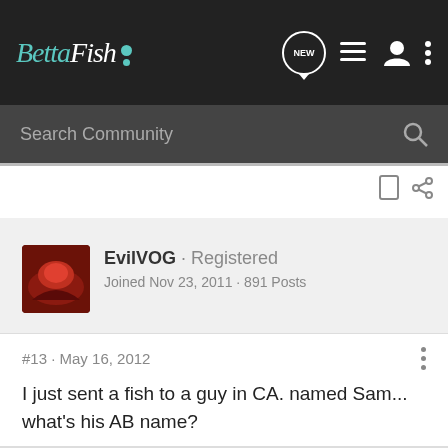BettaFish
Search Community
EvilVOG · Registered
Joined Nov 23, 2011 · 891 Posts
#13 · May 16, 2012
I just sent a fish to a guy in CA. named Sam... what's his AB name?